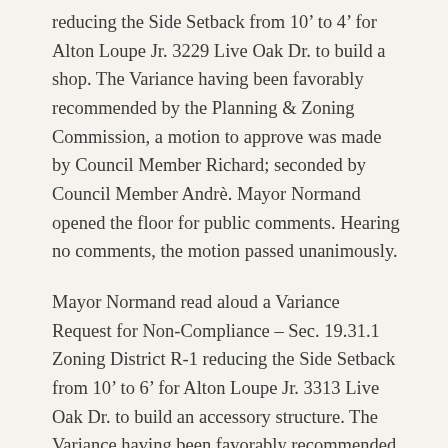reducing the Side Setback from 10' to 4' for Alton Loupe Jr. 3229 Live Oak Dr. to build a shop. The Variance having been favorably recommended by the Planning & Zoning Commission, a motion to approve was made by Council Member Richard; seconded by Council Member Andrè. Mayor Normand opened the floor for public comments. Hearing no comments, the motion passed unanimously.
Mayor Normand read aloud a Variance Request for Non-Compliance – Sec. 19.31.1 Zoning District R-1 reducing the Side Setback from 10' to 6' for Alton Loupe Jr. 3313 Live Oak Dr. to build an accessory structure. The Variance having been favorably recommended by the Planning & Zoning